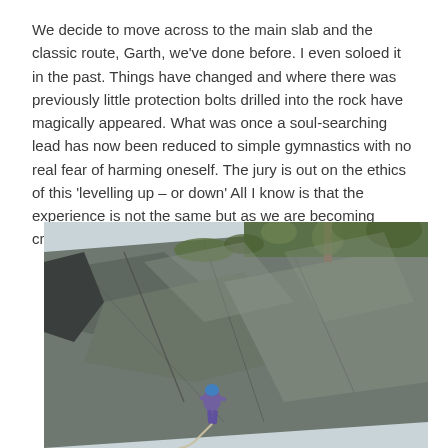We decide to move across to the main slab and the classic route, Garth, we've done before. I even soloed it in the past. Things have changed and where there was previously little protection bolts drilled into the rock have magically appeared. What was once a soul-searching lead has now been reduced to simple gymnastics with no real fear of harming oneself. The jury is out on the ethics of this 'levelling up – or down' All I know is that the experience is not the same but as we are becoming creeping gates it is good to reach the top.
[Figure (photo): A climber in purple clothing and blue helmet ascending a large grey rock slab at an outdoor crag. The slab is broad and textured with natural cracks. Green vegetation and trees are visible at the top of the crag. The photo is taken from above and behind the climber.]